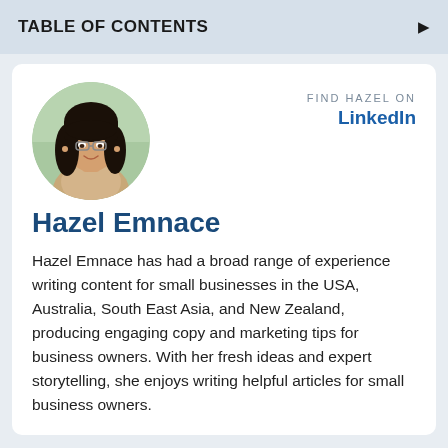TABLE OF CONTENTS
[Figure (photo): Circular profile photo of Hazel Emnace, a young woman with dark hair and glasses, smiling]
FIND HAZEL ON
LinkedIn
Hazel Emnace
Hazel Emnace has had a broad range of experience writing content for small businesses in the USA, Australia, South East Asia, and New Zealand, producing engaging copy and marketing tips for business owners. With her fresh ideas and expert storytelling, she enjoys writing helpful articles for small business owners.
FEEDBACK